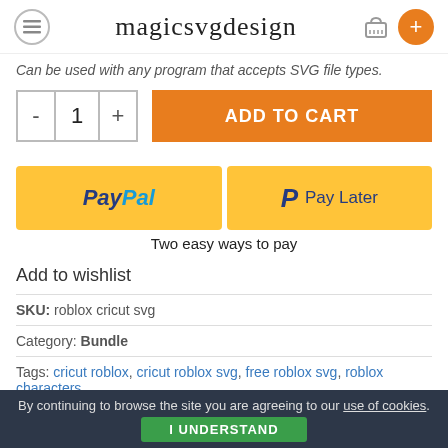magicsvgdesign
Can be used with any program that accepts SVG file types.
- 1 + ADD TO CART
[Figure (other): PayPal and Pay Later payment buttons side by side on yellow background]
Two easy ways to pay
Add to wishlist
SKU: roblox cricut svg
Category: Bundle
Tags: cricut roblox, cricut roblox svg, free roblox svg, roblox characters
By continuing to browse the site you are agreeing to our use of cookies. I UNDERSTAND